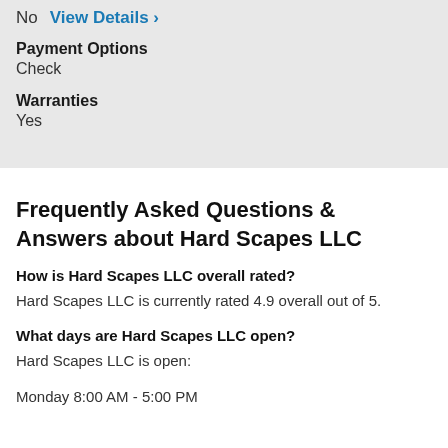No   View Details >
Payment Options
Check
Warranties
Yes
Frequently Asked Questions & Answers about Hard Scapes LLC
How is Hard Scapes LLC overall rated?
Hard Scapes LLC is currently rated 4.9 overall out of 5.
What days are Hard Scapes LLC open?
Hard Scapes LLC is open:
Monday 8:00 AM - 5:00 PM